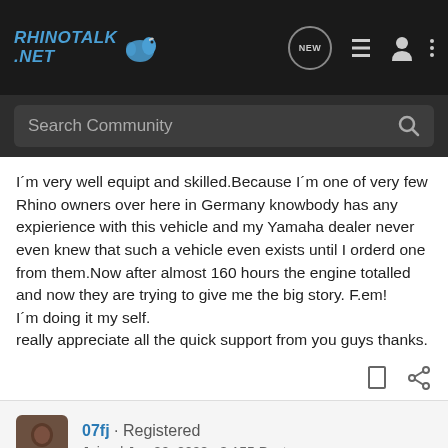RHINOTALK.NET
I´m very well equipt and skilled.Because I´m one of very few Rhino owners over here in Germany knowbody has any expierience with this vehicle and my Yamaha dealer never even knew that such a vehicle even exists until I orderd one from them.Now after almost 160 hours the engine totalled and now they are trying to give me the big story. F.em!
I´m doing it my self.
really appreciate all the quick support from you guys thanks.
07fj · Registered
Joined Jun 20, 2008 · 3,155 Posts